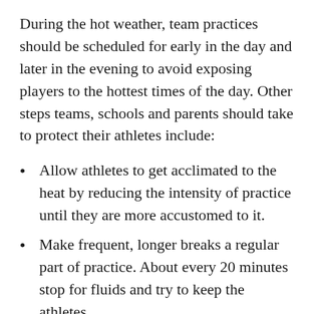During the hot weather, team practices should be scheduled for early in the day and later in the evening to avoid exposing players to the hottest times of the day. Other steps teams, schools and parents should take to protect their athletes include:
Allow athletes to get acclimated to the heat by reducing the intensity of practice until they are more accustomed to it.
Make frequent, longer breaks a regular part of practice. About every 20 minutes stop for fluids and try to keep the athletes